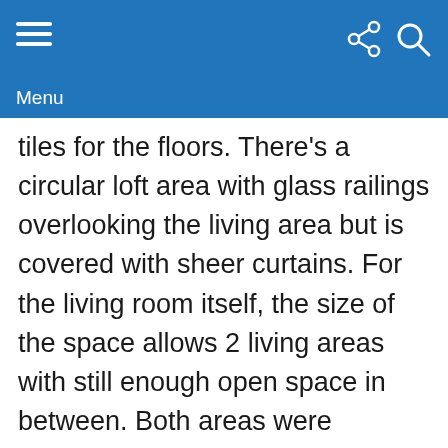Menu
tiles for the floors. There's a circular loft area with glass railings overlooking the living area but is covered with sheer curtains. For the living room itself, the size of the space allows 2 living areas with still enough open space in between. Both areas were furnished with chesterfield sofa & armchairs in a light beige leather upholstery, paired with concrete finish coffee table with tempered glass top. The combination of elegant materials and the scaling of the space really gives the place a hotel-like feel.